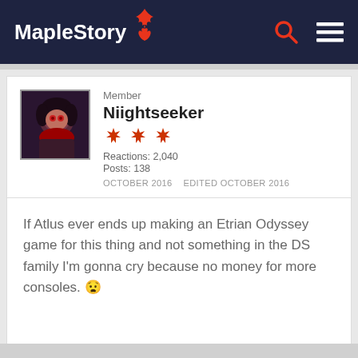MapleStory
Member
Niightseeker
Reactions: 2,040
Posts: 138
OCTOBER 2016   EDITED OCTOBER 2016
If Atlus ever ends up making an Etrian Odyssey game for this thing and not something in the DS family I'm gonna cry because no money for more consoles. 😧